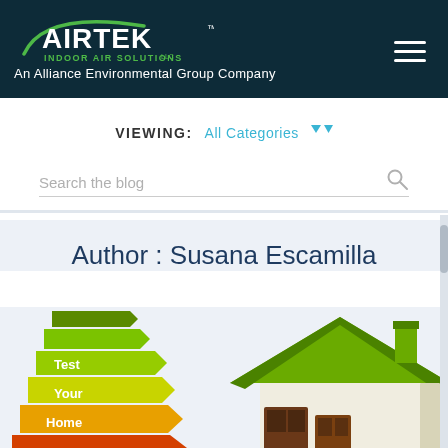AIRTEK INDOOR AIR SOLUTIONS LLC — An Alliance Environmental Group Company
VIEWING: All Categories
Search the blog
Author : Susana Escamilla
[Figure (illustration): Energy efficiency rating arrows graphic showing Test Your Home labels in green, yellow, and orange, alongside a 3D illustration of a house with a green roof.]